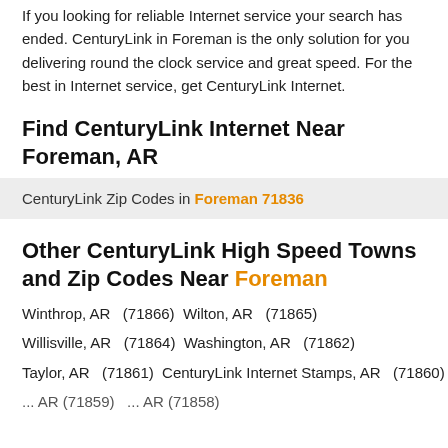If you looking for reliable Internet service your search has ended. CenturyLink in Foreman is the only solution for you delivering round the clock service and great speed. For the best in Internet service, get CenturyLink Internet.
Find CenturyLink Internet Near Foreman, AR
CenturyLink Zip Codes in Foreman 71836
Other CenturyLink High Speed Towns and Zip Codes Near Foreman
Winthrop, AR   (71866)   Wilton, AR   (71865)
Willisville, AR   (71864)   Washington, AR   (71862)
Taylor, AR   (71861)   CenturyLink Internet Stamps, AR   (71860)
... AR (71859)   ... AR (71858)